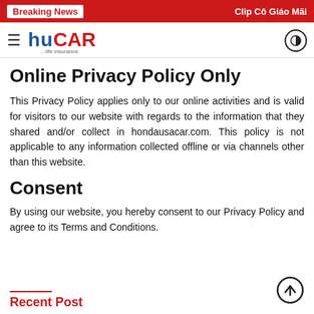Breaking News | Clip Cô Giáo Mãi
[Figure (logo): HUCAR Life Insurance logo with hamburger menu and theme toggle button]
Online Privacy Policy Only
This Privacy Policy applies only to our online activities and is valid for visitors to our website with regards to the information that they shared and/or collect in hondausacar.com. This policy is not applicable to any information collected offline or via channels other than this website.
Consent
By using our website, you hereby consent to our Privacy Policy and agree to its Terms and Conditions.
Recent Post